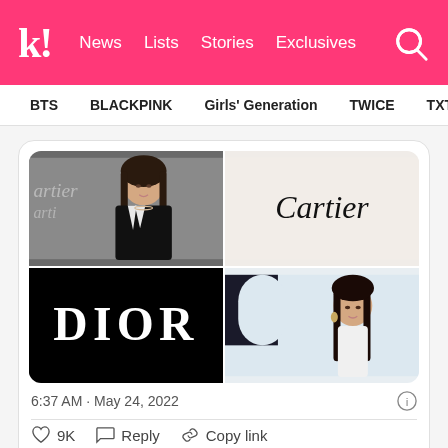k! News Lists Stories Exclusives
BTS BLACKPINK Girls' Generation TWICE TXT SEVE
[Figure (photo): 4-panel image grid: top-left shows a young Asian woman in black and white blazer at a Cartier event; top-right shows the Cartier brand logo in italic script; bottom-left shows DIOR logo in white text on black background; bottom-right shows a young Asian woman in white outfit at an event]
6:37 AM · May 24, 2022
♡ 9K  ♡ Reply  🔗 Copy link
Read 17 replies